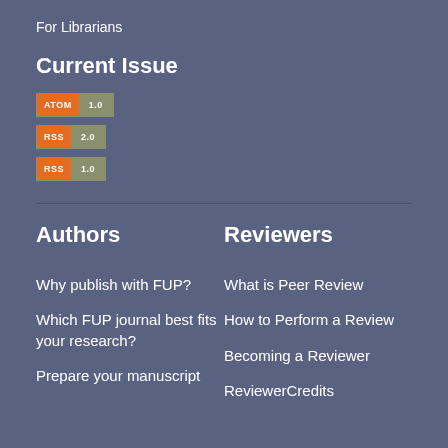For Librarians
Current Issue
[Figure (other): ATOM 1.0 feed badge]
[Figure (other): RSS 2.0 feed badge]
[Figure (other): RSS 1.0 feed badge]
Authors
Why publish with FUP?
Which FUP journal best fits your research?
Prepare your manuscript
Reviewers
What is Peer Review
How to Perform a Review
Becoming a Reviewer
ReviewerCredits